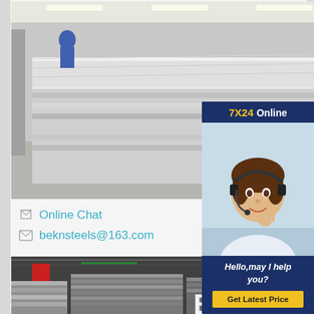[Figure (photo): Steel sheets stacked in a factory/warehouse, viewed at an angle, with a worker in blue in the background. Industrial setting with fluorescent lighting.]
Online Chat
beknsteels@163.com
[Figure (photo): Customer service representative chat widget with '7X24 Online' header, photo of a woman with headset smiling, text 'Hello,may I help you?' and a 'Get Latest Price' yellow button.]
[Figure (photo): Warehouse interior filled with stacks of steel bars and sections. Overlaid with large white text '14 EXPORT'.]